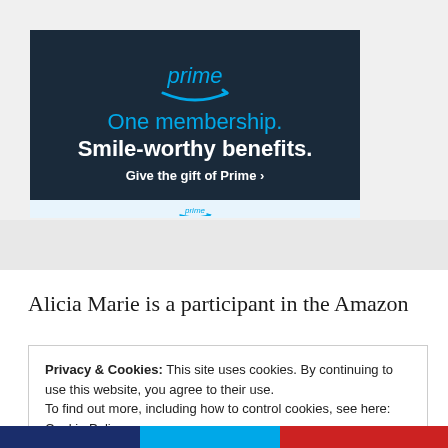[Figure (screenshot): Amazon Prime advertisement banner on dark navy background. Shows 'prime' logo in blue with arrow/smile icon, text 'One membership. Smile-worthy benefits.' and 'Give the gift of Prime ›' link. Light blue strip at bottom with Prime icon.]
Alicia Marie is a participant in the Amazon
Privacy & Cookies: This site uses cookies. By continuing to use this website, you agree to their use.
To find out more, including how to control cookies, see here:
Cookie Policy
Close and accept